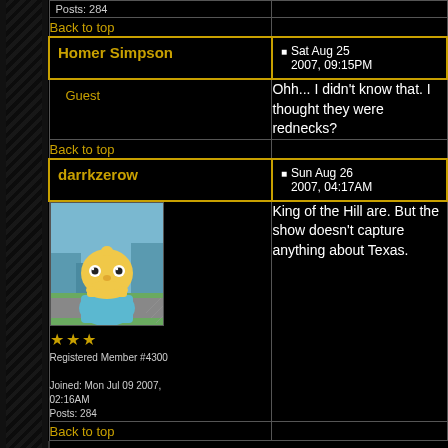Posts: 284
Back to top
Homer Simpson
Sat Aug 25 2007, 09:15PM
Guest
Ohh... I didn't know that. I thought they were rednecks?
Back to top
darrkzerow
Sun Aug 26 2007, 04:17AM
[Figure (illustration): Animated character avatar - cartoon yellow character (Ralph Wiggum from The Simpsons) with hand on chin, thinking pose, outdoor background]
Registered Member #4300
Joined: Mon Jul 09 2007, 02:16AM
Posts: 284
King of the Hill are. But the show doesn't capture anything about Texas.
Back to top